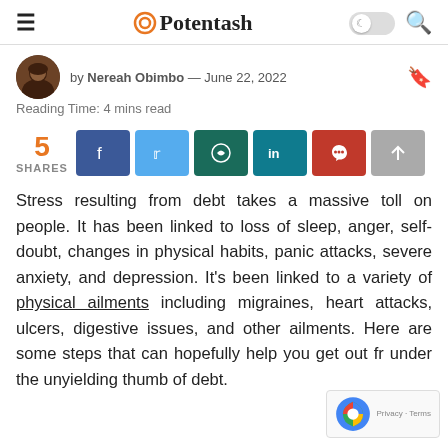Potentash
by Nereah Obimbo — June 22, 2022
Reading Time: 4 mins read
5 SHARES
Stress resulting from debt takes a massive toll on people. It has been linked to loss of sleep, anger, self-doubt, changes in physical habits, panic attacks, severe anxiety, and depression. It's been linked to a variety of physical ailments including migraines, heart attacks, ulcers, digestive issues, and other ailments. Here are some steps that can hopefully help you get out from under the unyielding thumb of debt.